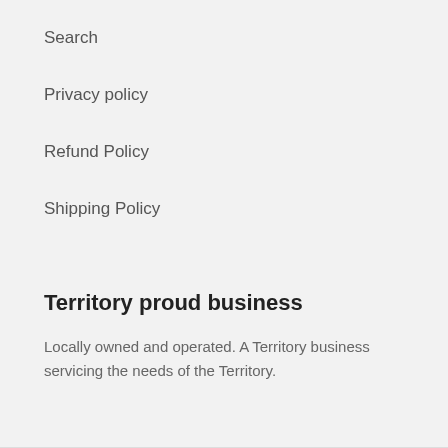Search
Privacy policy
Refund Policy
Shipping Policy
Territory proud business
Locally owned and operated. A Territory business servicing the needs of the Territory.